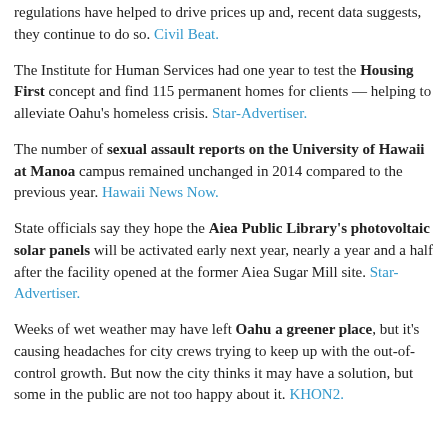regulations have helped to drive prices up and, recent data suggests, they continue to do so. Civil Beat.
The Institute for Human Services had one year to test the Housing First concept and find 115 permanent homes for clients — helping to alleviate Oahu's homeless crisis. Star-Advertiser.
The number of sexual assault reports on the University of Hawaii at Manoa campus remained unchanged in 2014 compared to the previous year. Hawaii News Now.
State officials say they hope the Aiea Public Library's photovoltaic solar panels will be activated early next year, nearly a year and a half after the facility opened at the former Aiea Sugar Mill site. Star-Advertiser.
Weeks of wet weather may have left Oahu a greener place, but it's causing headaches for city crews trying to keep up with the out-of-control growth. But now the city thinks it may have a solution, but some in the public are not too happy about it. KHON2.